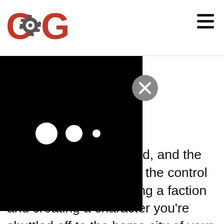[Figure (logo): COG (Critically Obsessed Gamers) logo in red and black with gear icon]
[Figure (other): Black modal/overlay box with three loading dots and a grey X close button in top right]
The Secret W[orld is a modern day MMO set in an Earl]th, a f[ar] from the med[ieval settings often associated with its c]ompatriots. The game pa[cks quite a bit of lore and world buildin]d with three factions battl[ing for control. The Templar and Illumni]ati are obsessed wit[h power, the Orochi corporation doesn't ]want to bring justice to the world, and the Dragon have mastered the control of chaos. Upon choosing a faction and creating a character you're shuttled off to the home city of your chosen group: New York, London and Seoul respectively. From there the mission structure plays out much the same for each team, save interactions with your chosen shadow organization. You'll travel to Maine, Egypt, and even Transylvania; each location just feels moody. Atmosphere really is one of the things this game does best. In Kingsmouth, Maine, you really get the feeling that there is evil afoot, and the setting genuinely